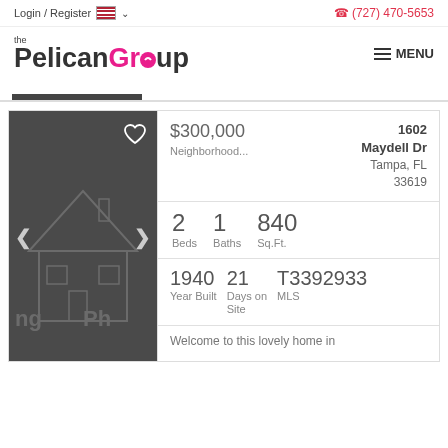Login / Register  🇺🇸 ∨    ☎ (727) 470-5653
[Figure (logo): The Pelican Group logo with pink and dark text]
MENU
[Figure (screenshot): Real estate listing card showing house image with navigation arrows and heart button]
$300,000
Neighborhood...
1602
Maydell Dr
Tampa, FL
33619
2 Beds   1 Baths   840 Sq.Ft.
1940 Year Built   21 Days on Site   T3392933 MLS
Welcome to this lovely home in